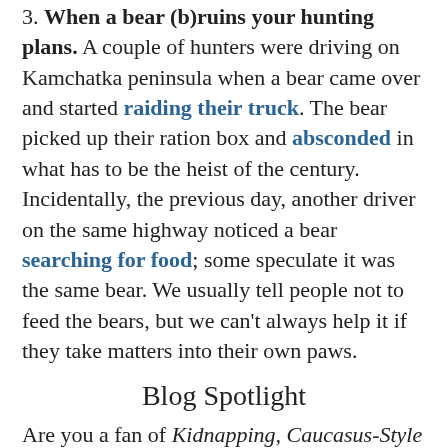3. When a bear (b)ruins your hunting plans. A couple of hunters were driving on Kamchatka peninsula when a bear came over and started raiding their truck. The bear picked up their ration box and absconded in what has to be the heist of the century. Incidentally, the previous day, another driver on the same highway noticed a bear searching for food; some speculate it was the same bear. We usually tell people not to feed the bears, but we can't always help it if they take matters into their own paws.
Blog Spotlight
Are you a fan of Kidnapping, Caucasus-Style (Кавказская пленница)? Are you just curious about Caucasus culture? Either way, don't miss Katrina Keegan's article fact-checking the Caucasus.